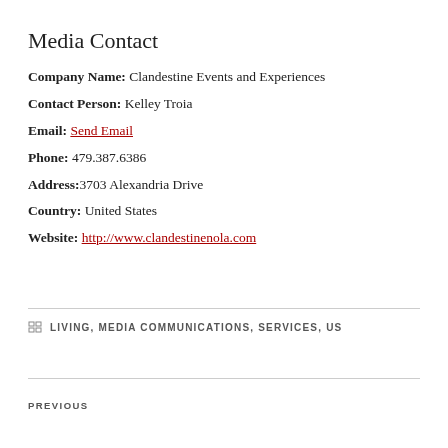Media Contact
Company Name: Clandestine Events and Experiences
Contact Person: Kelley Troia
Email: Send Email
Phone: 479.387.6386
Address: 3703 Alexandria Drive
Country: United States
Website: http://www.clandestinenola.com
LIVING, MEDIA COMMUNICATIONS, SERVICES, US
PREVIOUS